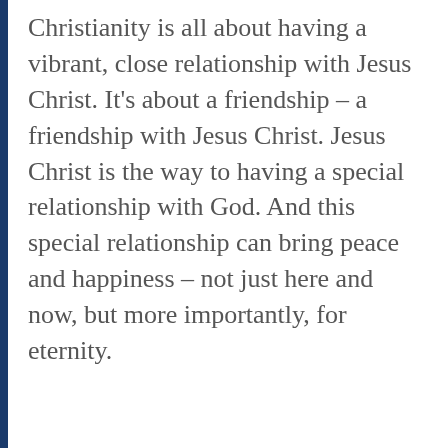Christianity is all about having a vibrant, close relationship with Jesus Christ. It's about a friendship – a friendship with Jesus Christ. Jesus Christ is the way to having a special relationship with God. And this special relationship can bring peace and happiness – not just here and now, but more importantly, for eternity.
[Figure (infographic): Green banner button with white bold text 'FREE BOOK OFFER: GET IT HERE' and a right-arrow chevron, followed by four social media icon circles: Facebook (blue), Twitter (light blue), WhatsApp (green), Email (red)]